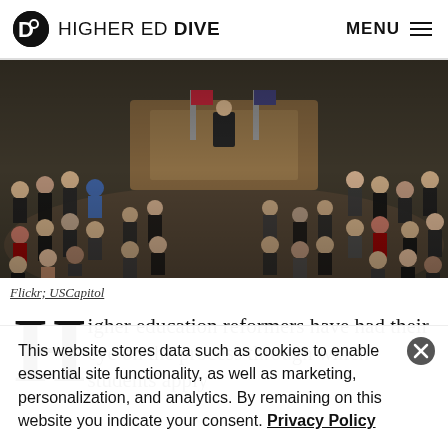HIGHER ED DIVE  MENU
[Figure (photo): Wide angle photograph of the U.S. Congress chamber filled with members standing and applauding, with a speaker at the podium on a raised dais, American flags visible in the background, taken from an elevated angle.]
Flickr; USCapitol
Higher education reformers have had their eye on the process through which students apply
This website stores data such as cookies to enable essential site functionality, as well as marketing, personalization, and analytics. By remaining on this website you indicate your consent. Privacy Policy